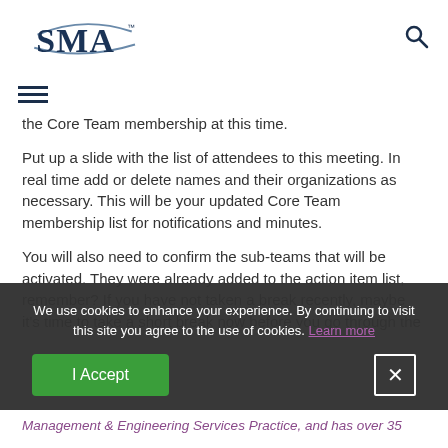SMA [logo] [search icon]
[Figure (logo): SMA logo with swoosh arcs above and below the letters SMA in dark navy blue]
the Core Team membership at this time.
Put up a slide with the list of attendees to this meeting. In real time add or delete names and their organizations as necessary. This will be your updated Core Team membership list for notifications and minutes.
You will also need to confirm the sub-teams that will be activated. They were already added to the action item list, remember? If you have not taken a break recently, maybe it's time to take a short break now before you go through the
We use cookies to enhance your experience. By continuing to visit this site you agree to the use of cookies. Learn more
I Accept
Management & Engineering Services Practice, and has over 35